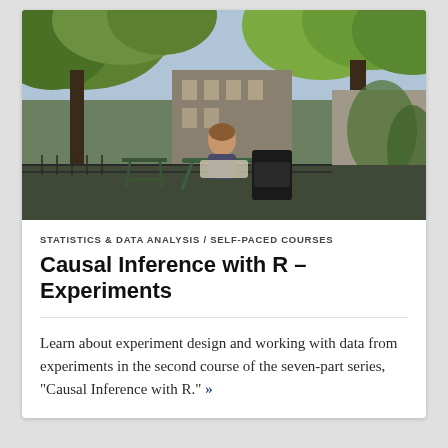[Figure (photo): Outdoor photograph of a person sitting at a green metal café table surrounded by trees and urban buildings in the background. Lush green foliage overhead. A large building with a mural is visible in the background.]
STATISTICS & DATA ANALYSIS / SELF-PACED COURSES
Causal Inference with R – Experiments
Learn about experiment design and working with data from experiments in the second course of the seven-part series, "Causal Inference with R." »»